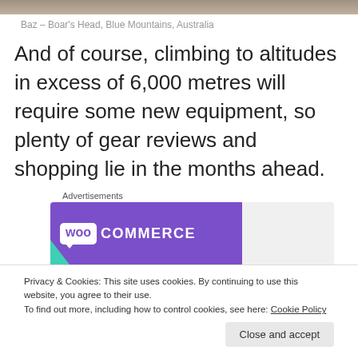[Figure (photo): Top portion of a photo, appears to be an animal or rocky landscape (Baz - Boar's Head, Blue Mountains, Australia)]
Baz – Boar's Head, Blue Mountains, Australia
And of course, climbing to altitudes in excess of 6,000 metres will require some new equipment, so plenty of gear reviews and shopping lie in the months ahead.
[Figure (logo): WooCommerce advertisement banner with purple background, WooCommerce logo in white, teal triangle in bottom-left, blue accent in bottom-right]
Privacy & Cookies: This site uses cookies. By continuing to use this website, you agree to their use.
To find out more, including how to control cookies, see here: Cookie Policy